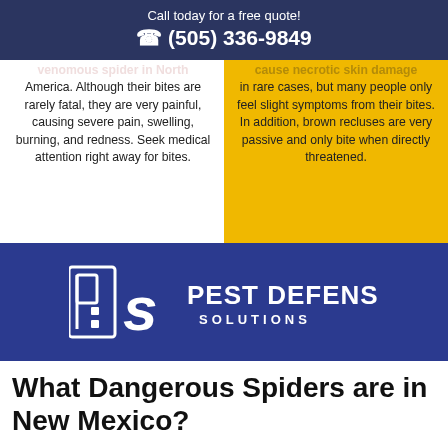Call today for a free quote!
☎ (505) 336-9849
venomous spider in North America. Although their bites are rarely fatal, they are very painful, causing severe pain, swelling, burning, and redness. Seek medical attention right away for bites.
cause necrotic skin damage in rare cases, but many people only feel slight symptoms from their bites. In addition, brown recluses are very passive and only bite when directly threatened.
[Figure (logo): Pest Defense Solutions logo on dark blue background — stylized P and S letters with 'PEST DEFENSE SOLUTIONS' text]
What Dangerous Spiders are in New Mexico?
All types of spiders are venomous in that venom that is used to paralyze and kill other insects they prey upon.